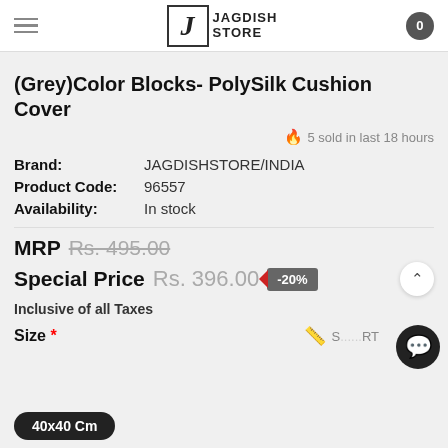Jagdish Store — logo header with cart
(Grey)Color Blocks- PolySilk Cushion Cover
5 sold in last 18 hours
Brand: JAGDISHSTORE/INDIA
Product Code: 96557
Availability: In stock
MRP Rs. 495.00
Special Price Rs. 396.00 -20%
Inclusive of all Taxes
Size * SIZE CHART
40x40 Cm